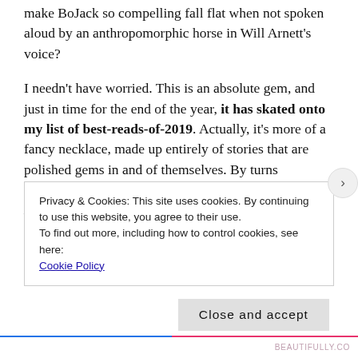make BoJack so compelling fall flat when not spoken aloud by an anthropomorphic horse in Will Arnett's voice?

I needn't have worried. This is an absolute gem, and just in time for the end of the year, it has skated onto my list of best-reads-of-2019. Actually, it's more of a fancy necklace, made up entirely of stories that are polished gems in and of themselves. By turns side-splitting and gut-wrenching, Someone Who Will Love You in All Your Damaged Glory is a kaleidoscopic view of love in all its forms, fractals and colors shifting from dating to
Privacy & Cookies: This site uses cookies. By continuing to use this website, you agree to their use.
To find out more, including how to control cookies, see here:
Cookie Policy
Close and accept